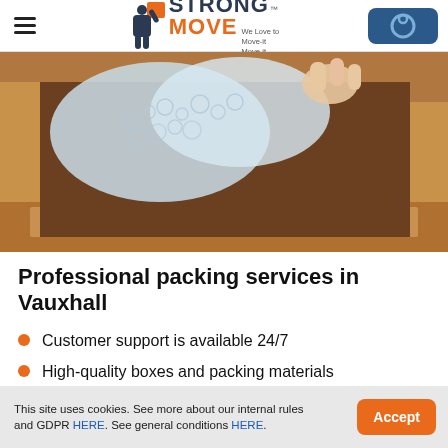Strong Move — We Love to Move-it Move-it
[Figure (photo): Cardboard moving box with bubble-wrapped items being placed inside, photographed from above.]
Professional packing services in Vauxhall
Customer support is available 24/7
High-quality boxes and packing materials
This site uses cookies. See more about our internal rules and GDPR HERE. See general conditions HERE.